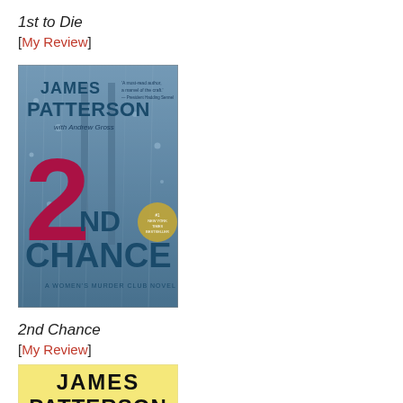1st to Die
[My Review]
[Figure (photo): Book cover of '2nd Chance' by James Patterson with Andrew Gross. Dark blue rainy bridge background, large red '2' and dark teal 'ND CHANCE' text, 'A Women's Murder Club Novel' subtitle.]
2nd Chance
[My Review]
[Figure (photo): Book cover of a James Patterson novel with a light yellow background, showing 'JAMES PATTERSON' in bold black text at the top (partial view).]